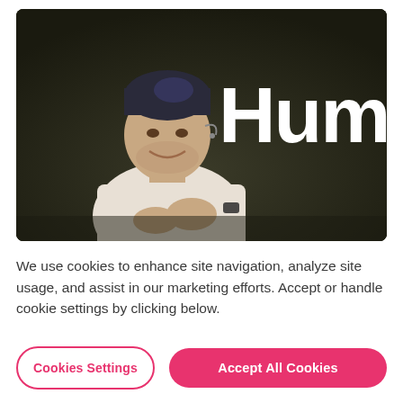[Figure (photo): A man with blue-tinted dark hair wearing a cream/white ribbed sweater and a headset microphone, smiling and gesturing with his hands on a dark stage. Behind him is a large screen showing the text 'Huma' (partial word, likely 'Human'). The background is dark olive/brown.]
We use cookies to enhance site navigation, analyze site usage, and assist in our marketing efforts. Accept or handle cookie settings by clicking below.
Cookies Settings
Accept All Cookies